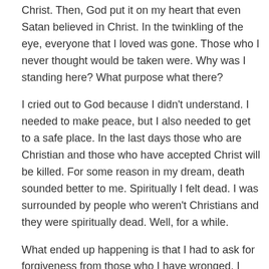Christ. Then, God put it on my heart that even Satan believed in Christ. In the twinkling of the eye, everyone that I loved was gone. Those who I never thought would be taken were. Why was I standing here? What purpose what there?
I cried out to God because I didn't understand. I needed to make peace, but I also needed to get to a safe place. In the last days those who are Christian and those who have accepted Christ will be killed. For some reason in my dream, death sounded better to me. Spiritually I felt dead. I was surrounded by people who weren't Christians and they were spiritually dead. Well, for a while.
What ended up happening is that I had to ask for forgiveness from those who I have wronged. I know we are forgiven, but it is our human nature to hold onto things. I hold onto guilt. Satan is fast at telling us that we aren't worthy of forgiveness and that